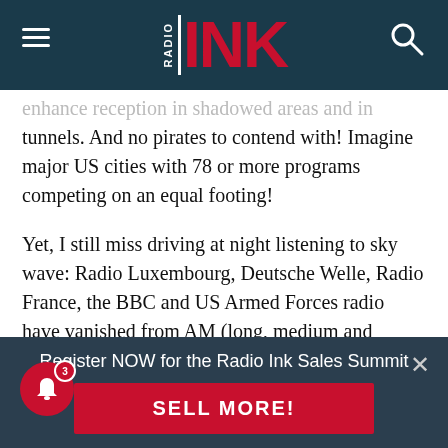RADIO INK
enhance reception in shadowed areas and in tunnels. And no pirates to contend with! Imagine major US cities with 78 or more programs competing on an equal footing!
Yet, I still miss driving at night listening to sky wave: Radio Luxembourg, Deutsche Welle, Radio France, the BBC and US Armed Forces radio have vanished from AM (long, medium and shortwave). But the pendulum could swing back, like the vinyl record.
I did visit...via PPM base...
Register NOW for the Radio Ink Sales Summit
SELL MORE!